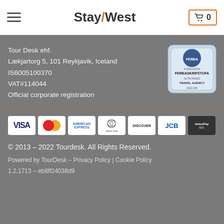Stay/West
Tour Desk ehf.
Lækjartorg 5, 101 Reykjavik, Iceland
IS6005100370
VAT#114044
Official corporate registration
[Figure (logo): Ferdamalastofa Authorized Travel Agency seal 2021-029]
[Figure (logo): Payment method logos: VISA, MasterCard, American Express, Diners Club, Discover, JCB, UnionPay]
© 2013 - 2022 Tourdesk. All Rights Reserved.
Powered by TourDesk – Privacy Policy | Cookie Policy
1.2.1713 - eb8ff24038d9